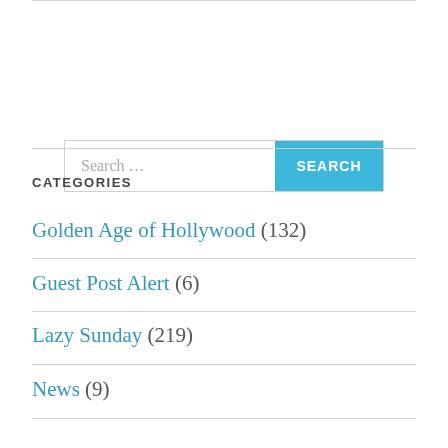[Figure (screenshot): Search bar with text input field showing placeholder 'Search ...' and a blue 'SEARCH' button]
CATEGORIES
Golden Age of Hollywood (132)
Guest Post Alert (6)
Lazy Sunday (219)
News (9)